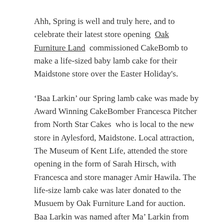Ahh, Spring is well and truly here, and to celebrate their latest store opening  Oak Furniture Land  commissioned CakeBomb to make a life‑sized baby lamb cake for their Maidstone store over the Easter Holiday's.
'Baa Larkin' our Spring lamb cake was made by Award Winning CakeBomber Francesca Pitcher from North Star Cakes  who is local to the new store in Aylesford, Maidstone. Local attraction, The Museum of Kent Life, attended the store opening in the form of Sarah Hirsch, with Francesca and store manager Amir Hawila. The life‑size lamb cake was later donated to the Musuem by Oak Furniture Land for auction. Baa Larkin was named after Ma' Larkin from the popular 90's TV show 'The Darling Buds of May' because the Museum is home to Ma' Larkin's Kitchen set from the show,  and which is still on display to the public.
Having never made a lamb cake we were pretty interested to